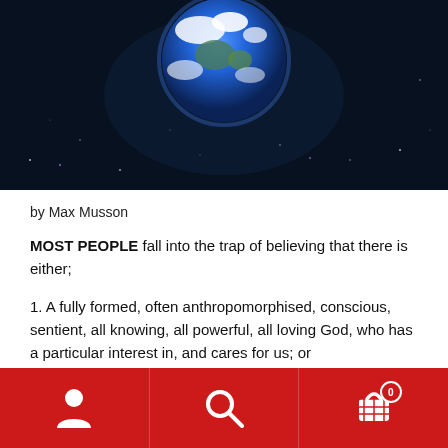[Figure (photo): Photo of Earth from space against a dark starry background, with the globe visible near the top center of the image.]
by Max Musson
MOST PEOPLE fall into the trap of believing that there is either;
1. A fully formed, often anthropomorphised, conscious, sentient, all knowing, all powerful, all loving God, who has a particular interest in, and cares for us; or